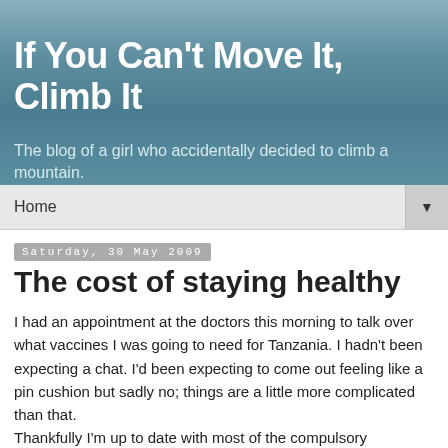[Figure (illustration): Blog header banner with blue-grey gradient background and sky-like gradient at top]
If You Can't Move It, Climb It
The blog of a girl who accidentally decided to climb a mountain.
Home ▼
Saturday, 30 May 2009
The cost of staying healthy
I had an appointment at the doctors this morning to talk over what vaccines I was going to need for Tanzania. I hadn't been expecting a chat. I'd been expecting to come out feeling like a pin cushion but sadly no; things are a little more complicated than that.
Thankfully I'm up to date with most of the compulsory